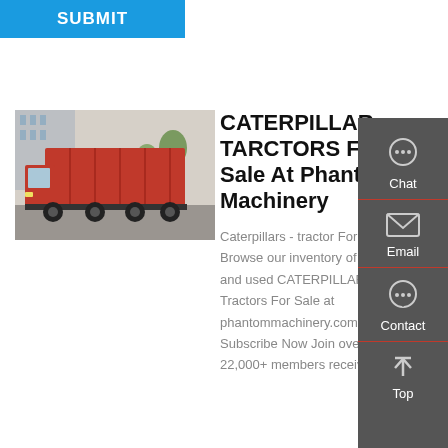SUBMIT
[Figure (photo): Red dump truck / heavy tipper truck parked on a road with buildings and trees in the background]
CATERPILLAR TARCTORS For Sale At Phantom Machinery
Caterpillars - tractor For sale Browse our inventory of new and used CATERPILLAR Tractors For Sale at phantommachinery.com. Subscribe Now Join over 22,000+ members receiving
Chat
Email
Contact
Top